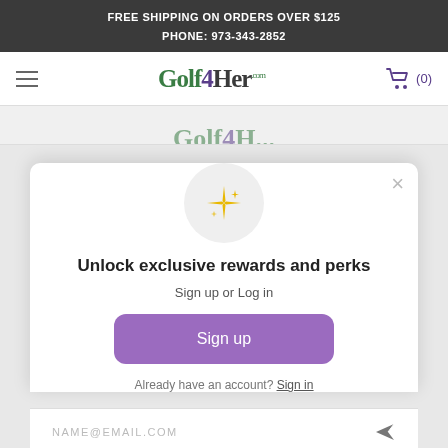FREE SHIPPING ON ORDERS OVER $125
PHONE: 973-343-2852
[Figure (logo): Golf4Her.com logo with navigation bar including hamburger menu and shopping cart showing (0) items]
[Figure (illustration): Sparkle/star emoji icon inside a light gray circle]
Unlock exclusive rewards and perks
Sign up or Log in
Sign up
Already have an account? Sign in
NAME@EMAIL.COM